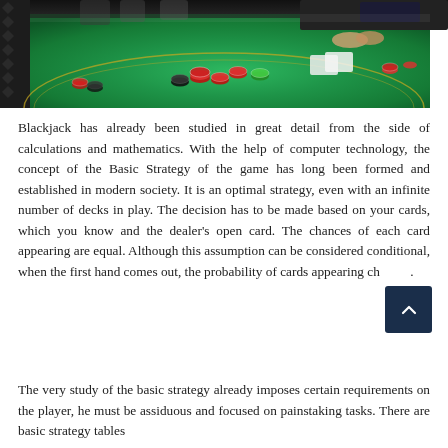[Figure (photo): Casino blackjack table with green felt, chips, and dealer hands visible from above, crowded casino environment in background]
Blackjack has already been studied in great detail from the side of calculations and mathematics. With the help of computer technology, the concept of the Basic Strategy of the game has long been formed and established in modern society. It is an optimal strategy, even with an infinite number of decks in play. The decision has to be made based on your cards, which you know and the dealer's open card. The chances of each card appearing are equal. Although this assumption can be considered conditional, when the first hand comes out, the probability of cards appearing ch….
The very study of the basic strategy already imposes certain requirements on the player, he must be assiduous and focused on painstaking tasks. There are basic strategy tables